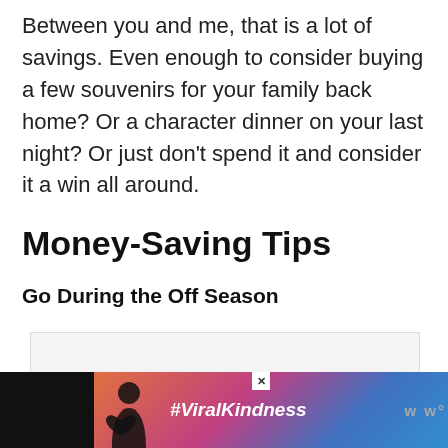Between you and me, that is a lot of savings. Even enough to consider buying a few souvenirs for your family back home? Or a character dinner on your last night? Or just don't spend it and consider it a win all around.
Money-Saving Tips
Go During the Off Season
[Figure (photo): Placeholder image area for an off-season photo]
[Figure (photo): Ad banner at bottom: dark background with sunset photo, heart hands silhouette, #ViralKindness text, and logo]